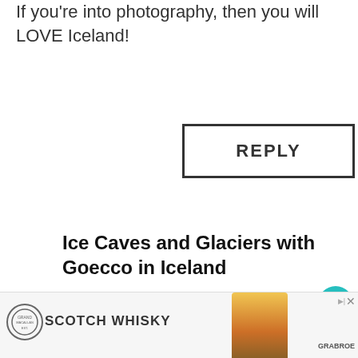If you're into photography, then you will LOVE Iceland!
REPLY
Ice Caves and Glaciers with Goecco in Iceland
7 years ago
[...] is important to remember when traveling in Iceland – especially when traveling in Iceland in winter, when the weather can literally change in an instant and even the best-laid plans can be [...]